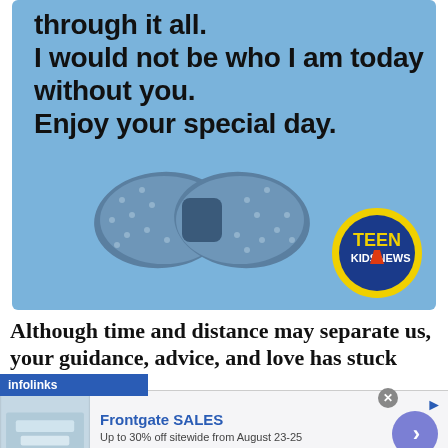[Figure (illustration): Blue greeting card with bold black text reading 'through it all. I would not be who I am today without you. Enjoy your special day.' with a bow-tie illustration and Teen Kids News logo]
Although time and distance may separate us, your guidance, advice, and love has stuck with
[Figure (infographic): Infolinks advertisement bar with Frontgate SALES ad: 'Up to 30% off sitewide from August 23-25' and 'www.frontgate.com', showing a bedroom image thumbnail and navigation arrow]